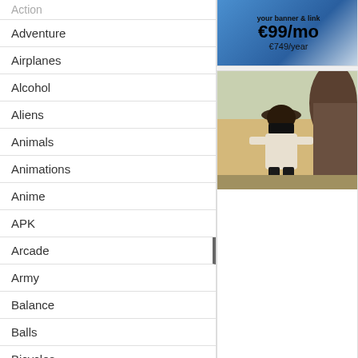Action
Adventure
Airplanes
Alcohol
Aliens
Animals
Animations
Anime
APK
Arcade
Army
Balance
Balls
Bicycles
Blackjack
Brands
Cards
Cars
Cartoons
Casino
[Figure (screenshot): Advertisement banner showing your banner & link €99/mo €749/year with 5 star rating]
[Figure (screenshot): Golden Duel game thumbnail showing masked cowboy character]
Golden Duel
Welcome to wild West where and you have to kill all dange Earn cash and buy cool upgr
[Figure (screenshot): Puppet Soccer 2014 game thumbnail showing puppet soccer players]
Puppet Soccer 2014
Select your favorite internatio familiar faces in this game. It arrows to move, Space to sh
[Figure (screenshot): Football Head 2013 game thumbnail showing football game]
Football Head 2013
Barclays Premier League ha one on one against other Pre Space to shoot.